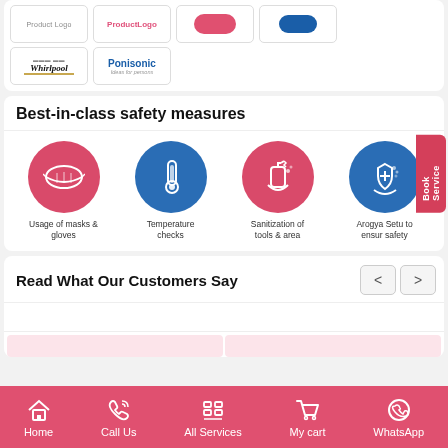[Figure (logo): Brand logos section showing Whirlpool and Ponisonic logos in bordered boxes, plus two partially visible pink and blue logo boxes]
Best-in-class safety measures
[Figure (infographic): Four circular icons showing safety measures: pink circle with mask icon (Usage of masks & gloves), blue circle with thermometer icon (Temperature checks), pink circle with sanitizer spray icon (Sanitization of tools & area), blue circle with shield/hand icon (Arogya Setu to ensure safety)]
Read What Our Customers Say
[Figure (screenshot): Navigation arrows (left/right) for customer reviews carousel]
Home | Call Us | All Services | My cart | WhatsApp